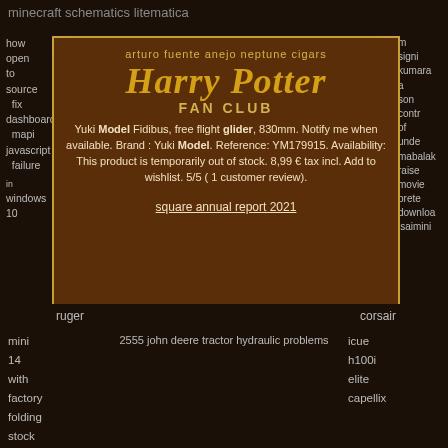minecraft schematics litematica
how open to source fix dashboard mapi javascript failure in windows 10
m signi kumaran a son contr of unde mabalak raise movie prete downloa isaimini
arturo fuente anejo neptune cigars
Harry Potter FAN CLUB
Yuki Model Fidibus, free flight glider, 830mm. Notify me when available. Brand : Yuki Model. Reference: YM179915. Availability: This product is temporarily out of stock. 8,99 € tax incl. Add to wishlist. 5/5 ( 1 customer review).
square annual report 2021
ruger
corsair
mini 14 with factory folding stock
2555 john deere tractor hydraulic problems
icue h100i elite capellix